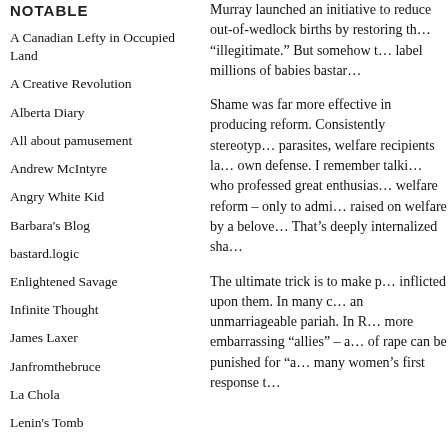NOTABLE
A Canadian Lefty in Occupied Land
A Creative Revolution
Alberta Diary
All about pamusement
Andrew McIntyre
Angry White Kid
Barbara's Blog
bastard.logic
Enlightened Savage
Infinite Thought
James Laxer
Janfromthebruce
La Chola
Lenin's Tomb
Murray launched an initiative to reduce out-of-wedlock births by restoring the word “illegitimate.” But somehow telling people not to label millions of babies bastar…
Shame was far more effective in producing reform. Consistently stereotyped as parasites, welfare recipients lacked standing to mount their own defense. I remember talking to a young man who professed great enthusiasm for Clinton’s welfare reform – only to admit he had been raised on welfare by a beloved grandmother. That’s deeply internalized sha…
The ultimate trick is to make people blame their own suffering for evils inflicted upon them. In many cultures, a rape victim becomes an unmarriageable pariah. In R… more embarrassing “allies” – a… of rape can be punished for “a… many women’s first response t…